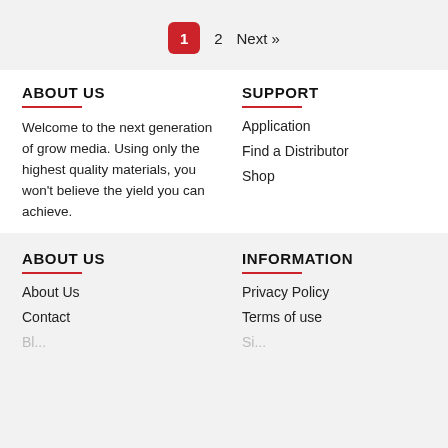1  2  Next »
ABOUT US
Welcome to the next generation of grow media. Using only the highest quality materials, you won't believe the yield you can achieve.
SUPPORT
Application
Find a Distributor
Shop
ABOUT US
About Us
Contact
INFORMATION
Privacy Policy
Terms of use